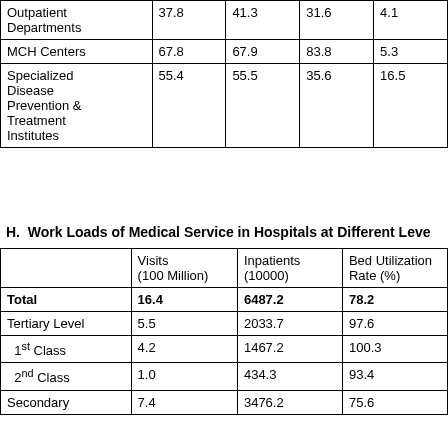|  |  |  |  |  |
| --- | --- | --- | --- | --- |
| Outpatient Departments | 37.8 | 41.3 | 31.6 | 4.1 |
| MCH Centers | 67.8 | 67.9 | 83.8 | 5.3 |
| Specialized Disease Prevention & Treatment Institutes | 55.4 | 55.5 | 35.6 | 16.5 |
H. Work Loads of Medical Service in Hospitals at Different Levels
|  | Visits (100 Million) | Inpatients (10000) | Bed Utilization Rate (%) |
| --- | --- | --- | --- |
| Total | 16.4 | 6487.2 | 78.2 |
| Tertiary Level | 5.5 | 2033.7 | 97.6 |
| 1st Class | 4.2 | 1467.2 | 100.3 |
| 2nd Class | 1.0 | 434.3 | 93.4 |
| Secondary | 7.4 | 3476.2 | 75.6 |